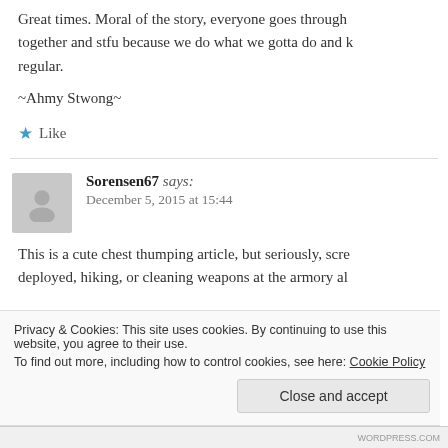Great times. Moral of the story, everyone goes through... together and stfu because we do what we gotta do and keep it regular.
~Ahmy Stwong~
★ Like
Sorensen67 says: December 5, 2015 at 15:44
This is a cute chest thumping article, but seriously, scre... deployed, hiking, or cleaning weapons at the armory al...
Privacy & Cookies: This site uses cookies. By continuing to use this website, you agree to their use. To find out more, including how to control cookies, see here: Cookie Policy
Close and accept